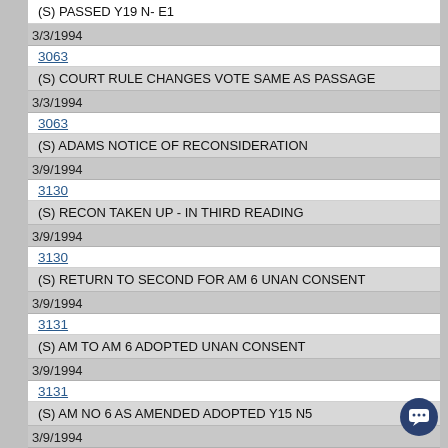(S) PASSED Y19 N- E1
3/3/1994
3063
(S) COURT RULE CHANGES VOTE SAME AS PASSAGE
3/3/1994
3063
(S) ADAMS NOTICE OF RECONSIDERATION
3/9/1994
3130
(S) RECON TAKEN UP - IN THIRD READING
3/9/1994
3130
(S) RETURN TO SECOND FOR AM 6 UNAN CONSENT
3/9/1994
3131
(S) AM TO AM 6 ADOPTED UNAN CONSENT
3/9/1994
3131
(S) AM NO 6 AS AMENDED ADOPTED Y15 N5
3/9/1994
3131